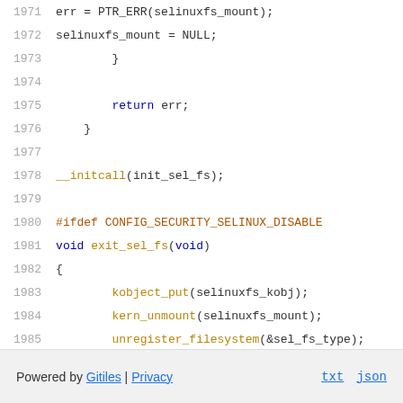[Figure (screenshot): Source code listing (C kernel code) showing lines 1971-1987, including error handling, __initcall, and #ifdef CONFIG_SECURITY_SELINUX_DISABLE block with exit_sel_fs function]
Powered by Gitiles | Privacy    txt   json